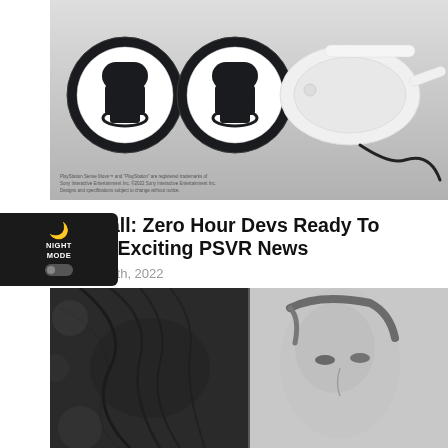[Figure (photo): PlayStation VR2 headset and two controllers shown on a grey gradient background. Two circular controller views on left, VR headset on right with cable.]
Firewall: Zero Hour Devs Ready To Share Exciting PSVR News
August 28th, 2022
[Figure (photo): Black and white split photo of a person's face, showing texture details on the left side and a more standard portrait on the right side.]